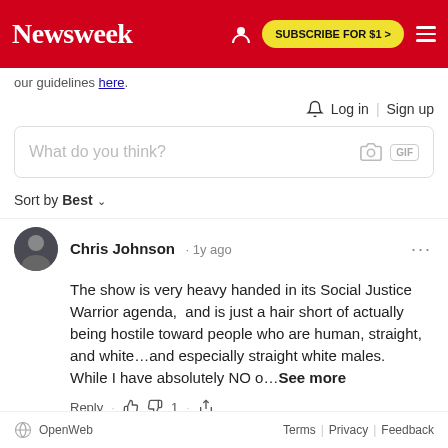Newsweek | SUBSCRIBE FOR $1 >
our guidelines here.
Log in | Sign up
What do you think?
Sort by Best
Chris Johnson · 1y ago
The show is very heavy handed in its Social Justice Warrior agenda,  and is just a hair short of actually being hostile toward people who are human, straight, and white...and especially straight white males.    While I have absolutely NO o…See more
Reply · 👍 👎 1 · share
OpenWeb   Terms | Privacy | Feedback